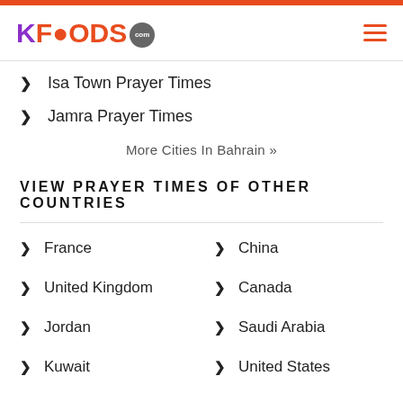KFoods.com
Isa Town Prayer Times
Jamra Prayer Times
More Cities In Bahrain »
VIEW PRAYER TIMES OF OTHER COUNTRIES
France
China
United Kingdom
Canada
Jordan
Saudi Arabia
Kuwait
United States